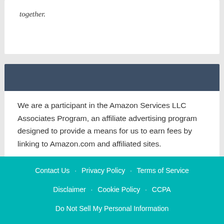together.
We are a participant in the Amazon Services LLC Associates Program, an affiliate advertising program designed to provide a means for us to earn fees by linking to Amazon.com and affiliated sites.
Contact Us  Privacy Policy  Terms of Service  Disclaimer  Cookie Policy  CCPA  Do Not Sell My Personal Information